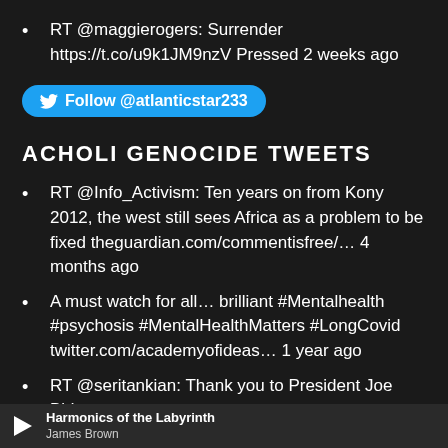RT @maggierogers: Surrender https://t.co/u9k1JM9nzV Pressed 2 weeks ago
[Figure (other): Twitter Follow button for @atlanticstar233]
ACHOLI GENOCIDE TWEETS
RT @Info_Activism: Ten years on from Kony 2012, the west still sees Africa as a problem to be fixed theguardian.com/commentisfree/… 4 months ago
A must watch for all… brilliant #Mentalhealth #psychosis #MentalHealthMatters #LongCovid twitter.com/academyofideas… 1 year ago
RT @seritankian: Thank you to President Joe Biden
[Figure (other): Media player bar showing: Harmonics of the Labyrinth by James Brown]